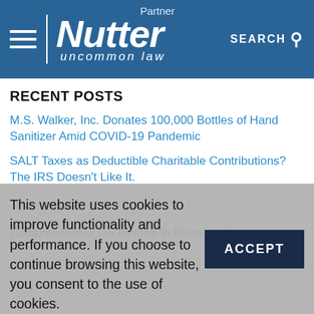Nutter — uncommon law
RECENT POSTS
M.S. Walker, Inc. Donates 100,000 Bottles of Hand Sanitizer Amid COVID-19 Pandemic
SALT Taxes as Deductible Charitable Contributions? The IRS Doesn't Like It.
Comprehensive Tax Reform in Place as Congress
This website uses cookies to improve functionality and performance. If you choose to continue browsing this website, you consent to the use of cookies.